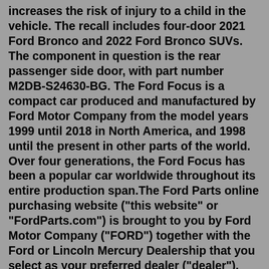increases the risk of injury to a child in the vehicle. The recall includes four-door 2021 Ford Bronco and 2022 Ford Bronco SUVs. The component in question is the rear passenger side door, with part number M2DB-S24630-BG. The Ford Focus is a compact car produced and manufactured by Ford Motor Company from the model years 1999 until 2018 in North America, and 1998 until the present in other parts of the world. Over four generations, the Ford Focus has been a popular car worldwide throughout its entire production span.The Ford Parts online purchasing website ("this website" or "FordParts.com") is brought to you by Ford Motor Company ("FORD") together with the Ford or Lincoln Mercury Dealership that you select as your preferred dealer ("dealer"). The Ford Focus is a compact car produced and manufactured by Ford Motor Company from the model years 1999 until 2018 in North America, and 1998 until the present in other parts of the world. Over four generations, the Ford Focus has been a popular car worldwide throughout